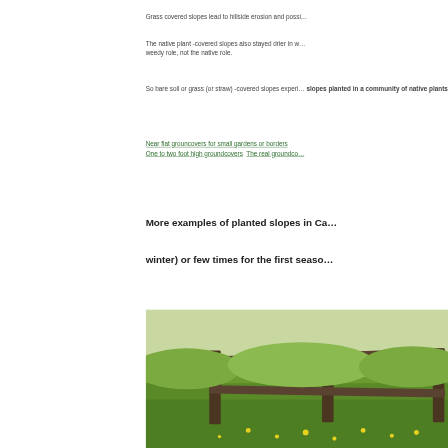Grass covered slopes lead to hillside erosion and possi…
The native plant -covered slopes also stayed drier in w… weedy role, not the native role.
So bare soil or grass (or straw) -covered slopes experi… slopes planted in a community of native plants".
Near flat grouncovers for small gardens or borders  One to two foot high groundcovers  The real groundco…
More examples of planted slopes in Ca…
winter) or few times for the first seaso…
[Figure (photo): Photograph of a grassy field with a wooden split-rail fence and yellow wildflowers.]